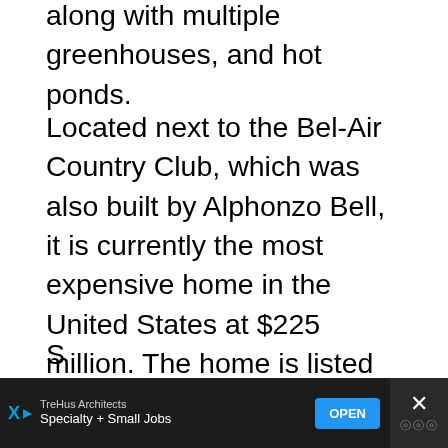along with multiple greenhouses, and hot ponds.
Located next to the Bel-Air Country Club, which was also built by Alphonzo Bell, it is currently the most expensive home in the United States at $225 million. The home is listed by Jeff Hyland and Rick Hilton (grandson of Conrad Hilton) of Hilton & Hyland, Beverly Hills and Shawn Elliott of Elite Real Estate Marketing.
Photo credit: Simon Berlyn
[Figure (other): Share button - circular white button with share icon]
[Figure (other): Advertisement banner - TreHus Architects, Specialty + Small Jobs, with OPEN button and close X]